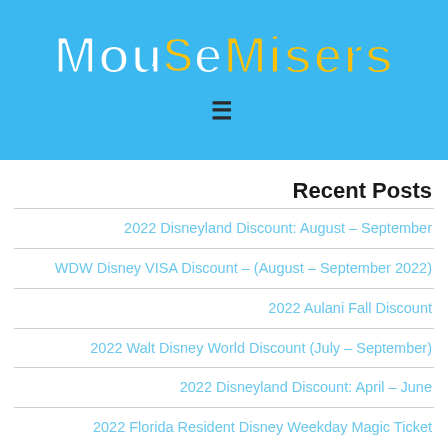MouseMisers
Recent Posts
2022 Disneyland Discount: August – September
WDW Disney VISA Discount – (August – September 2022)
2022 Aulani Fall Discount
2022 Walt Disney World Discount (July – September)
2022 Disneyland Discount: April – June
2022 Florida Resident Disney Weekday Magic Ticket